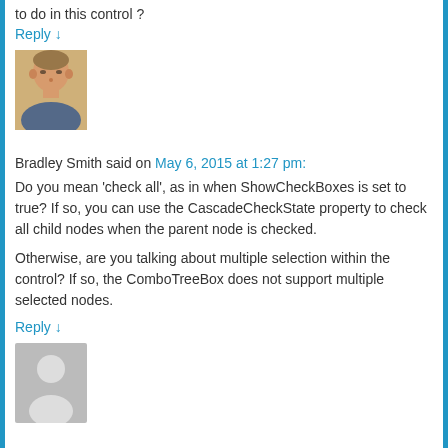to do in this control ?
Reply ↓
[Figure (photo): Avatar photo of a man with short hair wearing a blue shirt]
[Figure (other): Vote widget with up and down arrows and 'vote' label]
Bradley Smith said on May 6, 2015 at 1:27 pm:
Do you mean 'check all', as in when ShowCheckBoxes is set to true? If so, you can use the CascadeCheckState property to check all child nodes when the parent node is checked.
Otherwise, are you talking about multiple selection within the control? If so, the ComboTreeBox does not support multiple selected nodes.
Reply ↓
[Figure (illustration): Generic grey avatar placeholder with silhouette of a person]